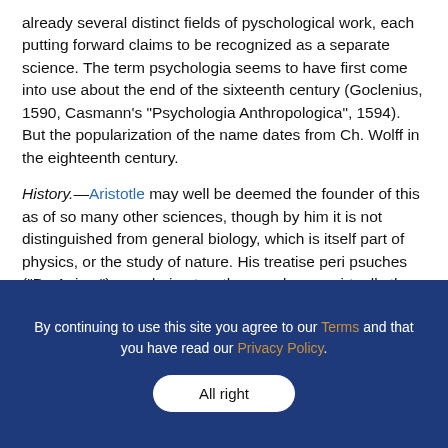already several distinct fields of pyschological work, each putting forward claims to be recognized as a separate science. The term psychologia seems to have first come into use about the end of the sixteenth century (Goclenius, 1590, Casmann's "Psychologia Anthropologica", 1594). But the popularization of the name dates from Ch. Wolff in the eighteenth century.
History.—Aristotle may well be deemed the founder of this as of so many other sciences, though by him it is not distinguished from general biology, which is itself part of physics, or the study of nature. His treatise peri psuches ("De Anima") was during two thousand years virtually the universal textbook of psychology, and it still well repays study in the investigation of
By continuing to use this site you agree to our Terms and that you have read our Privacy Policy.
All right